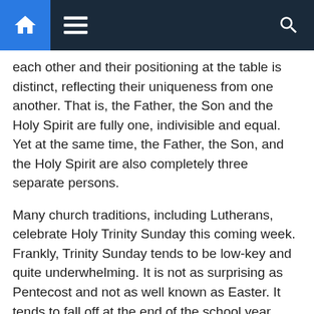Navigation bar with home, menu, and search icons
each other and their positioning at the table is distinct, reflecting their uniqueness from one another. That is, the Father, the Son and the Holy Spirit are fully one, indivisible and equal. Yet at the same time, the Father, the Son, and the Holy Spirit are also completely three separate persons.
Many church traditions, including Lutherans, celebrate Holy Trinity Sunday this coming week. Frankly, Trinity Sunday tends to be low-key and quite underwhelming. It is not as surprising as Pentecost and not as well known as Easter. It tends to fall off at the end of the school year, early summer, and around Memorial Day weekend. Thus, it is often “lost in the shuffle”.
But Holy Trinity Sunday has an important message for us. God valued community so much that he did not remain isolated. The Trinity was a community of equals, fully